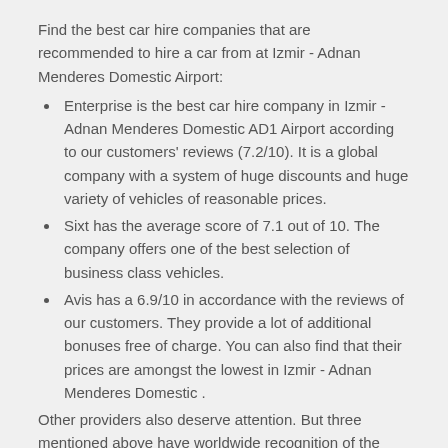Find the best car hire companies that are recommended to hire a car from at Izmir - Adnan Menderes Domestic Airport:
Enterprise is the best car hire company in Izmir - Adnan Menderes Domestic AD1 Airport according to our customers' reviews (7.2/10). It is a global company with a system of huge discounts and huge variety of vehicles of reasonable prices.
Sixt has the average score of 7.1 out of 10. The company offers one of the best selection of business class vehicles.
Avis has a 6.9/10 in accordance with the reviews of our customers. They provide a lot of additional bonuses free of charge. You can also find that their prices are amongst the lowest in Izmir - Adnan Menderes Domestic .
Other providers also deserve attention. But three mentioned above have worldwide recognition of the level of car hire service.
Which car hire company is the most popular at AD1 Airport, Turkey?
The most popular car hire agency in Izmir - Adnan Menderes